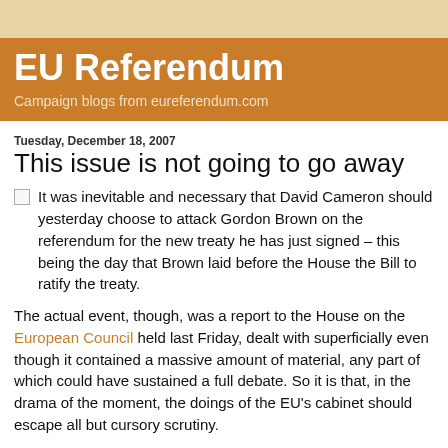EU Referendum
Campaign blogs from eureferendum.com
Tuesday, December 18, 2007
This issue is not going to go away
It was inevitable and necessary that David Cameron should yesterday choose to attack Gordon Brown on the referendum for the new treaty he has just signed – this being the day that Brown laid before the House the Bill to ratify the treaty.
The actual event, though, was a report to the House on the European Council held last Friday, dealt with superficially even though it contained a massive amount of material, any part of which could have sustained a full debate. So it is that, in the drama of the moment, the doings of the EU's cabinet should escape all but cursory scrutiny.